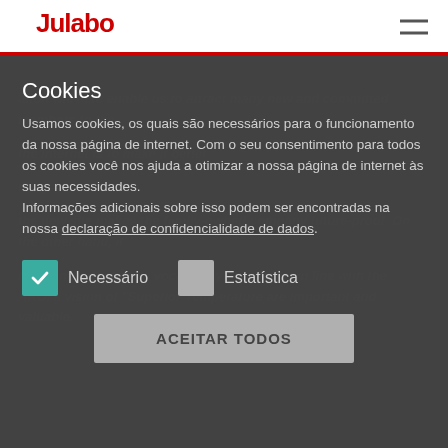Julabo
Cookies
Usamos cookies, os quais são necessários para o funcionamento da nossa página de internet. Com o seu consentimento para todos os cookies você nos ajuda a otimizar a nossa página de internet às suas necessidades.
Informações adicionais sobre isso podem ser encontradas na nossa declaração de confidencialidade de dados.
Necessário
Estatística
ACEITAR TODOS